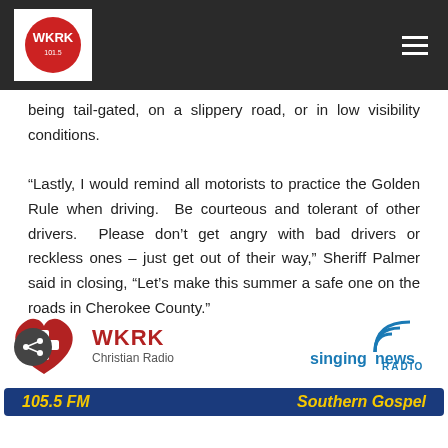WKRK (logo header bar)
being tail-gated, on a slippery road, or in low visibility conditions.
“Lastly, I would remind all motorists to practice the Golden Rule when driving.  Be courteous and tolerant of other drivers.  Please don’t get angry with bad drivers or reckless ones – just get out of their way,” Sheriff Palmer said in closing, “Let’s make this summer a safe one on the roads in Cherokee County.”
[Figure (logo): WKRK Christian Radio logo with red cross-heart and WKRK text, alongside Singing News Radio logo with blue signal waves]
105.5 FM   Southern Gospel